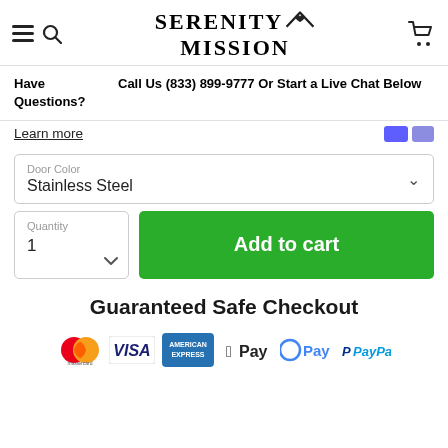Serenity Mission
Have Questions? Call Us (833) 899-9777 Or Start a Live Chat Below
Learn more
Door Color: Stainless Steel
Quantity: 1 | Add to cart
Guaranteed Safe Checkout
[Figure (logo): Payment icons: Mastercard, VISA, American Express, Apple Pay, Google Pay, PayPal]